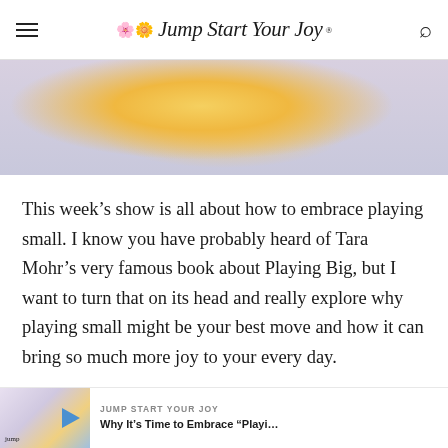Jump Start Your Joy
[Figure (photo): Partial photo showing a person in a yellow dress against a light blue/grey background, cropped to show torso area only]
This week’s show is all about how to embrace playing small. I know you have probably heard of Tara Mohr’s very famous book about Playing Big, but I want to turn that on its head and really explore why playing small might be your best move and how it can bring so much more joy to your every day.
[Figure (screenshot): Related content card thumbnail showing Jump Start Your Joy logo and a person]
JUMP START YOUR JOY
Why It’s Time to Embrace “Playi…